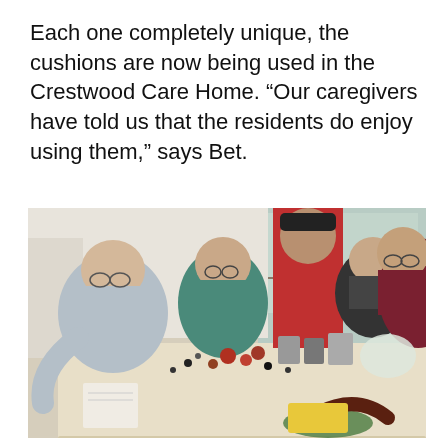Each one completely unique, the cushions are now being used in the Crestwood Care Home. “Our caregivers have told us that the residents do enjoy using them,” says Bet.
[Figure (photo): A group of five elderly and middle-aged people gathered around a table covered with craft supplies — buttons, yarn, fabric pieces, and handmade cushion decorations. They appear to be working on a craft project together in a bright room with large windows.]